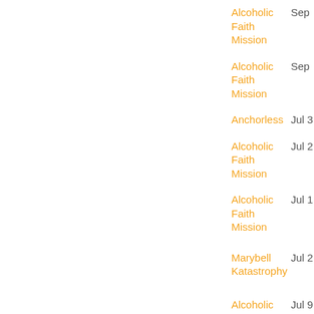Alcoholic Faith Mission  Sep
Alcoholic Faith Mission  Sep
Anchorless  Jul 3
Alcoholic Faith Mission  Jul 2
Alcoholic Faith Mission  Jul 1
Marybell Katastrophy  Jul 2
Alcoholic Faith Mission  Jul 9
Alcoholic Faith Mission  Jul 8
Green Pitch  Jun